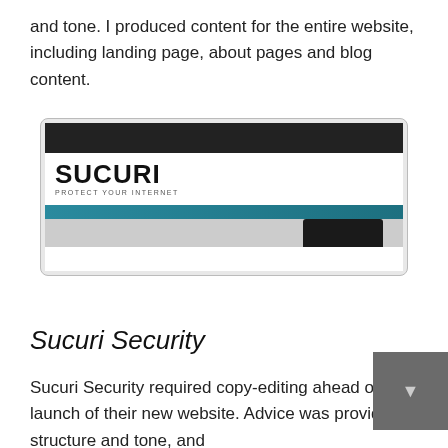and tone. I produced content for the entire website, including landing page, about pages and blog content.
[Figure (screenshot): Screenshot of the Sucuri website showing the logo with 'SUCURI' in bold black text and tagline 'PROTECT YOUR INTERNET', a teal navigation bar, and a dark header bar.]
Sucuri Security
Sucuri Security required copy-editing ahead of the launch of their new website. Advice was provided on structure and tone, and